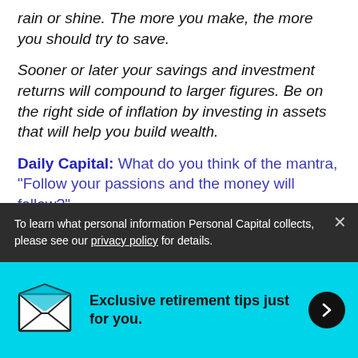rain or shine. The more you make, the more you should try to save.
Sooner or later your savings and investment returns will compound to larger figures. Be on the right side of inflation by investing in assets that will help you build wealth.
Daily Capital: What do you think of the mantra, “Follow your passions and the money will follow?”
Jeff: Unfortunately, I think it’s a lot of bunk said by
To learn what personal information Personal Capital collects, please see our privacy policy for details.
Exclusive retirement tips just for you.